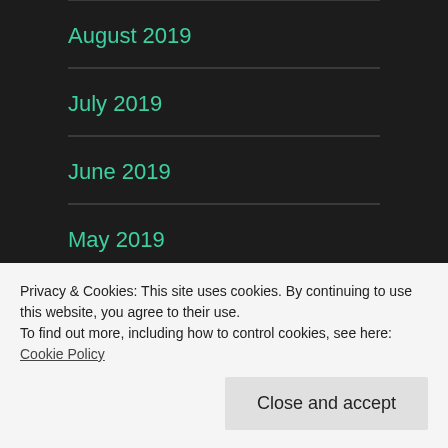August 2019
July 2019
June 2019
May 2019
April 2019
March 2019
Privacy & Cookies: This site uses cookies. By continuing to use this website, you agree to their use.
To find out more, including how to control cookies, see here: Cookie Policy
Close and accept